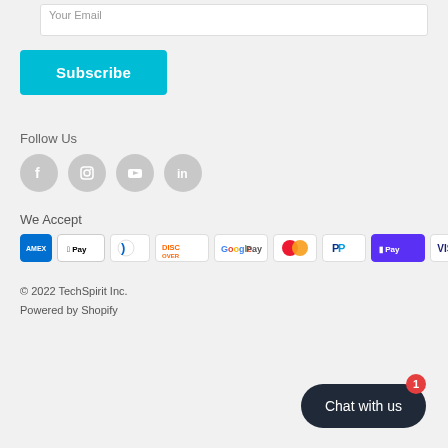[Figure (screenshot): Email input field (Your Email) partially visible at top]
[Figure (other): Subscribe button in cyan/teal color]
Follow Us
[Figure (other): Social media icons: Facebook, Instagram, YouTube, LinkedIn - gray circles]
We Accept
[Figure (other): Payment method icons: AMEX, Apple Pay, Diners Club, Discover, Google Pay, Mastercard, PayPal, Shop Pay, Visa]
© 2022 TechSpirit Inc.
Powered by Shopify
[Figure (other): Chat with us button with badge showing 1]